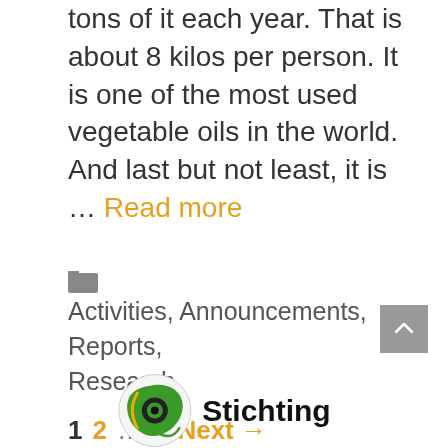tons of it each year. That is about 8 kilos per person. It is one of the most used vegetable oils in the world. And last but not least, it is … Read more
Activities, Announcements, Reports, Research
1  2  …  5  Next →
[Figure (logo): Stichting organization logo with circular green eye icon and text 'Stichting']